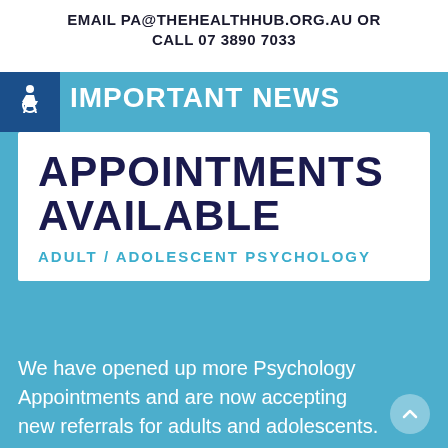EMAIL PA@THEHEALTHHUB.ORG.AU OR CALL 07 3890 7033
IMPORTANT NEWS
APPOINTMENTS AVAILABLE
ADULT / ADOLESCENT PSYCHOLOGY
We have opened up more Psychology Appointments and are now accepting new referrals for adults and adolescents.